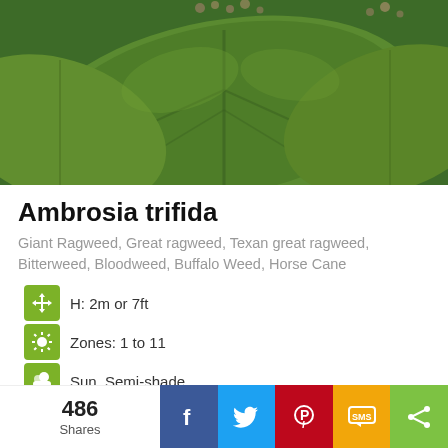[Figure (photo): Close-up photo of large green leaves of Ambrosia trifida (Giant Ragweed) plant, with some small flowering buds visible at top]
Ambrosia trifida
Giant Ragweed, Great ragweed, Texan great ragweed, Bitterweed, Bloodweed, Buffalo Weed, Horse Cane
H: 2m or 7ft
Zones: 1 to 11
Sun, Semi-shade
Moist
Ambrosia trifida
486 Shares  [Facebook] [Twitter] [Pinterest] [SMS] [Share]